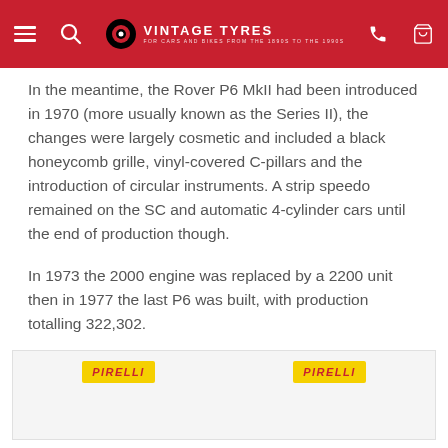Vintage Tyres — For cars and bikes from the 1890s to the 1990s
In the meantime, the Rover P6 MkII had been introduced in 1970 (more usually known as the Series II), the changes were largely cosmetic and included a black honeycomb grille, vinyl-covered C-pillars and the introduction of circular instruments. A strip speedo remained on the SC and automatic 4-cylinder cars until the end of production though.
In 1973 the 2000 engine was replaced by a 2200 unit then in 1977 the last P6 was built, with production totalling 322,302.
[Figure (logo): Two Pirelli yellow badge logos side by side on a light grey background]